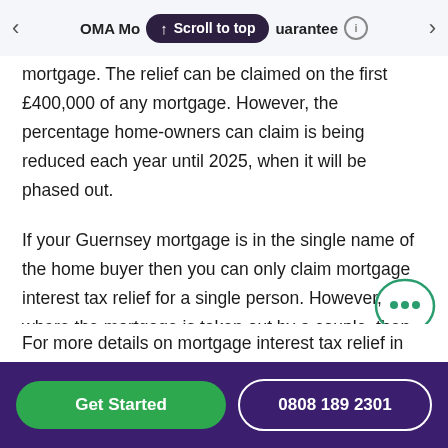OMA Mo... Guarantee
mortgage. The relief can be claimed on the first £400,000 of any mortgage. However, the percentage home-owners can claim is being reduced each year until 2025, when it will be phased out.
If your Guernsey mortgage is in the single name of the home buyer then you can only claim mortgage interest tax relief for a single person. However, where the mortgage is taken out by a couple, then the mortgage interest tax relief will be higher.
For more details on mortgage interest tax relief in...
Get Started  0808 189 2301